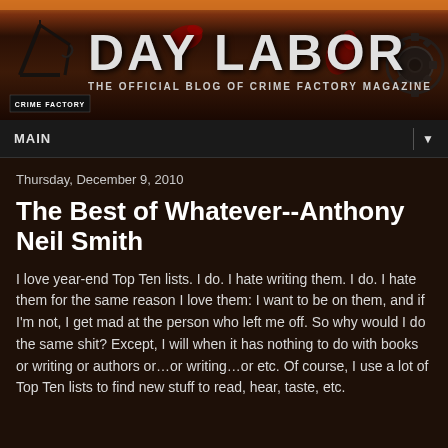[Figure (illustration): Day Labor blog banner — Crime Factory Magazine blog header with industrial/crime theme, gears, text 'DAY LABOR' and subtitle 'THE OFFICIAL BLOG OF CRIME FACTORY MAGAZINE']
MAIN
Thursday, December 9, 2010
The Best of Whatever--Anthony Neil Smith
I love year-end Top Ten lists. I do. I hate writing them. I do. I hate them for the same reason I love them: I want to be on them, and if I'm not, I get mad at the person who left me off. So why would I do the same shit? Except, I will when it has nothing to do with books or writing or authors or…or writing…or etc. Of course, I use a lot of Top Ten lists to find new stuff to read, hear, taste, etc.